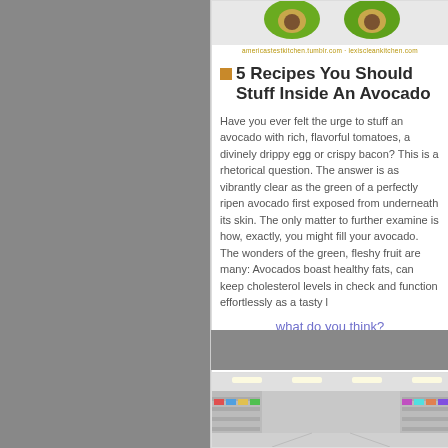[Figure (photo): Avocado halves photo at top of article card]
americastestkitchen.tumblr.com · lexiscleankitchen.com
5 Recipes You Should Stuff Inside An Avocado
Have you ever felt the urge to stuff an avocado with rich, flavorful tomatoes, a divinely drippy egg or crispy bacon? This is a rhetorical question. The answer is as vibrantly clear as the green of a perfectly ripen avocado first exposed from underneath its skin. The only matter to further examine is how, exactly, you might fill your avocado. The wonders of the green, fleshy fruit are many: Avocados boast healthy fats, can keep cholesterol levels in check and function effortlessly as a tasty l
what do you think?
2014-09-17 09:34:55
[Figure (photo): Supermarket aisle with bright ceiling lights and product shelves]